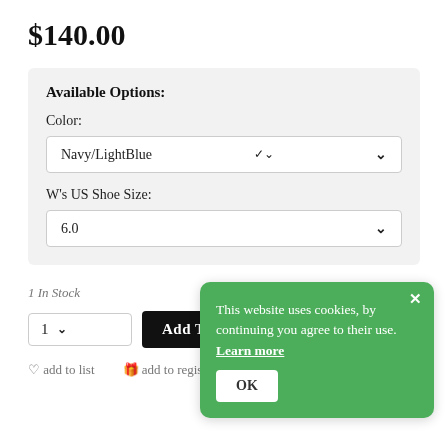$140.00
Available Options:
Color:
Navy/LightBlue
W's US Shoe Size:
6.0
1 In Stock
1
Add To
add to list
add to registry
This website uses cookies, by continuing you agree to their use. Learn more
OK